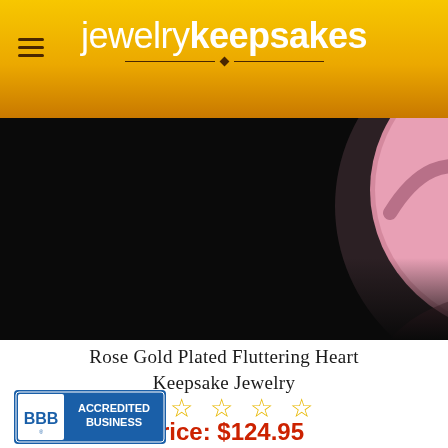jewelry keepsakes
[Figure (photo): Close-up photo of a rose gold plated fluttering heart keepsake jewelry piece with crystal/diamond accents on a black background, with a reflection visible below.]
Rose Gold Plated Fluttering Heart Keepsake Jewelry
☆ ☆ ☆ ☆ ☆ (5 empty star rating)
Price: $124.95
[Figure (logo): BBB Accredited Business logo badge]